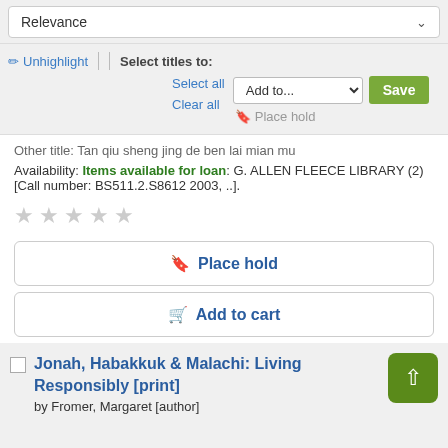Relevance
✏ Unhighlight | Select titles to:
Select all
Add to...
Save
Clear all
🔖 Place hold
Other title: Tan qiu sheng jing de ben lai mian mu
Availability: Items available for loan: G. ALLEN FLEECE LIBRARY (2) [Call number: BS511.2.S8612 2003, ..].
☆ ☆ ☆ ☆ ☆
🔖 Place hold
🛒 Add to cart
Jonah, Habakkuk & Malachi: Living Responsibly [print]
by Fromer, Margaret [author]